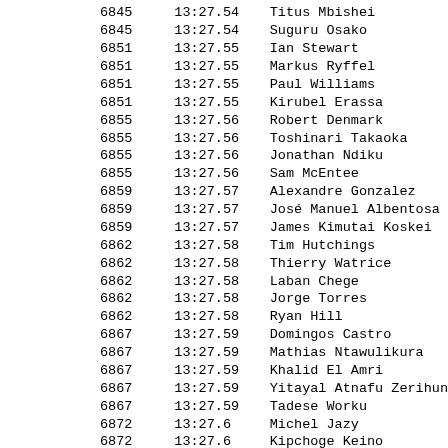| ID | Time | Name |
| --- | --- | --- |
| 6845 | 13:27.54 | Titus Mbishei |
| 6845 | 13:27.54 | Suguru Osako |
| 6851 | 13:27.55 | Ian Stewart |
| 6851 | 13:27.55 | Markus Ryffel |
| 6851 | 13:27.55 | Paul Williams |
| 6851 | 13:27.55 | Kirubel Erassa |
| 6855 | 13:27.56 | Robert Denmark |
| 6855 | 13:27.56 | Toshinari Takaoka |
| 6855 | 13:27.56 | Jonathan Ndiku |
| 6855 | 13:27.56 | Sam McEntee |
| 6859 | 13:27.57 | Alexandre Gonzalez |
| 6859 | 13:27.57 | José Manuel Albentosa |
| 6859 | 13:27.57 | James Kimutai Koskei |
| 6862 | 13:27.58 | Tim Hutchings |
| 6862 | 13:27.58 | Thierry Watrice |
| 6862 | 13:27.58 | Laban Chege |
| 6862 | 13:27.58 | Jorge Torres |
| 6862 | 13:27.58 | Ryan Hill |
| 6867 | 13:27.59 | Domingos Castro |
| 6867 | 13:27.59 | Mathias Ntawulikura |
| 6867 | 13:27.59 | Khalid El Amri |
| 6867 | 13:27.59 | Yitayal Atnafu Zerihun |
| 6867 | 13:27.59 | Tadese Worku |
| 6872 | 13:27.6 | Michel Jazy |
| 6872 | 13:27.6 | Kipchoge Keino |
| 6872 | 13:27.6 | Manfred Kushmann |
| 6872 | 13:27.6 | Per Halle |
| 6872 | 13:27.6 | Emiel Puttemans |
| 6872 | 13:27.6+ | Charles Kamathi |
| 6872 | 13:27.60 | Yasuyuki Watanabe |